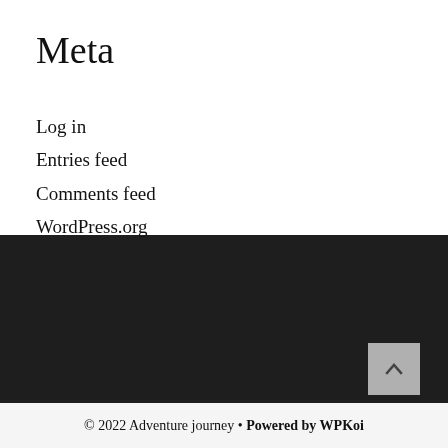Meta
Log in
Entries feed
Comments feed
WordPress.org
© 2022 Adventure journey • Powered by WPKoi